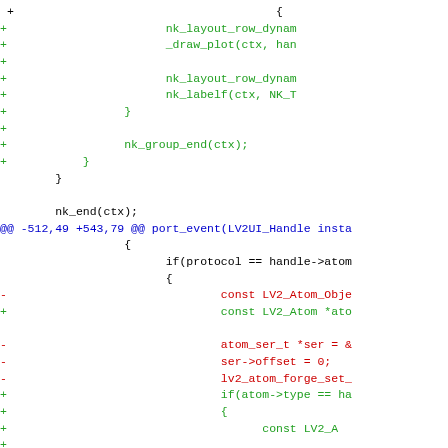[Figure (screenshot): A diff/patch view of source code showing additions (green lines with +), deletions (red lines with -), context lines (black), and a diff hunk header (blue). The code involves nk_layout_row_dynam, _draw_plot, nk_labelf, nk_group_end, nk_end, port_event, LV2UI_Handle, protocol, handle->atom, LV2_Atom_Obje, LV2_Atom *ato, atom_ser_t *ser, ser->offset, lv2_atom_forge_set_, if(atom->type == ha, const LV2_A, const int64, handle->off, LV2_Atom_Forge_Ref.]